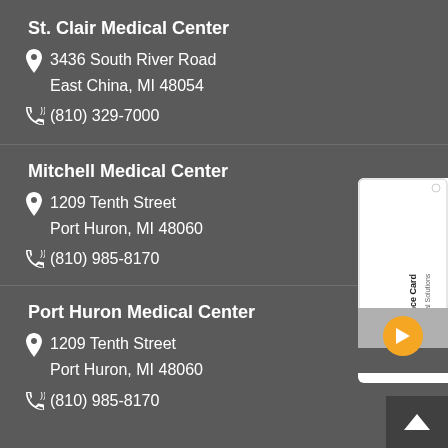St. Clair Medical Center
3436 South River Road
East China, MI 48054
(810) 329-7000
Mitchell Medical Center
1209 Tenth Street
Port Huron, MI 48060
(810) 985-8170
Port Huron Medical Center
1209 Tenth Street
Port Huron, MI 48060
(810) 985-8170
[Figure (illustration): Assurance Card from Sysnet Global Solutions with orange arrow button]
[Figure (illustration): Back to top chevron button]